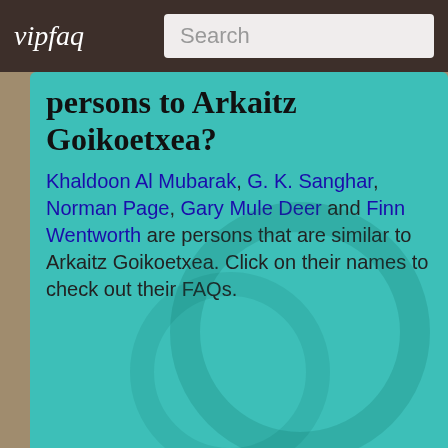vipfaq | Search
persons to Arkaitz Goikoetxea?
Khaldoon Al Mubarak, G. K. Sanghar, Norman Page, Gary Mule Deer and Finn Wentworth are persons that are similar to Arkaitz Goikoetxea. Click on their names to check out their FAQs.
What is Arkaitz Goikoetxea doing now?
Supposedly, 2022 has been a busy year for